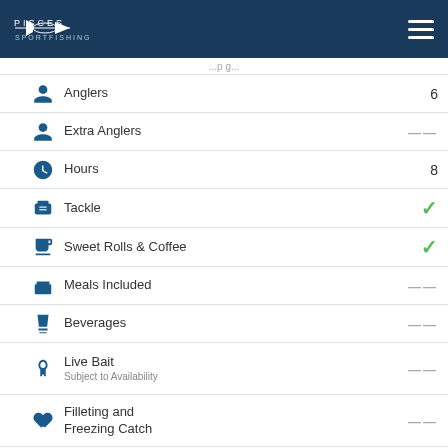Pisces Sportfishing
Anglers — 6
Extra Anglers — —
Hours — 8
Tackle — ✓
Sweet Rolls & Coffee — ✓
Meals Included — —
Beverages — —
Live Bait
Subject to Availability — —
Filleting and Freezing Catch — —
Fishing Licenses*
(Provided by our team at an additional cost) — —